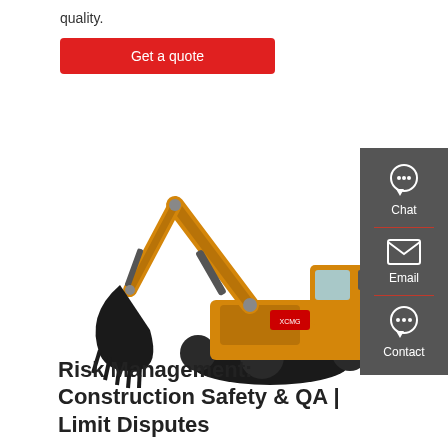quality.
Get a quote
[Figure (photo): Yellow XCMG hydraulic excavator with black bucket and tracks on white background]
[Figure (infographic): Dark grey sidebar with Chat, Email, and Contact icons and labels]
Risk Management: Construction Safety & QA | Limit Disputes